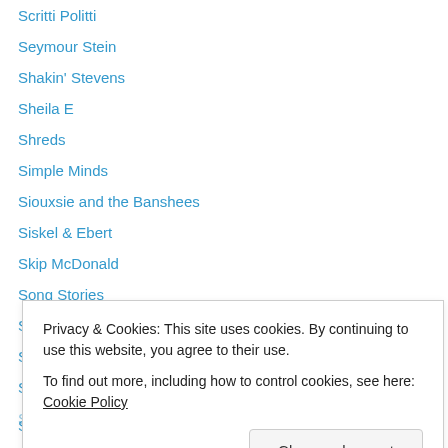Scritti Politti
Seymour Stein
Shakin' Stevens
Sheila E
Shreds
Simple Minds
Siouxsie and the Banshees
Siskel & Ebert
Skip McDonald
Song Stories
Sonny Rollins
Soul
Soundtracks
Privacy & Cookies: This site uses cookies. By continuing to use this website, you agree to their use. To find out more, including how to control cookies, see here: Cookie Policy
Steve Khan